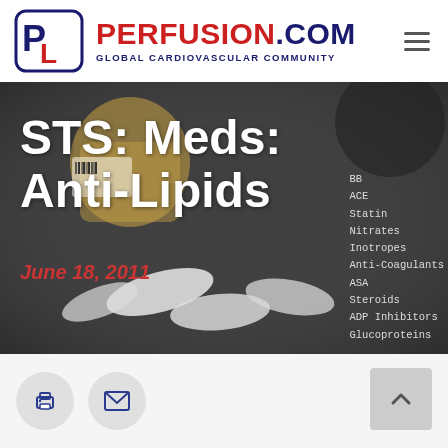[Figure (logo): Perfusion.com logo with blue and red P/C letters in a rounded square box, with brand name PERFUSION.COM and tagline GLOBAL CARDIOVASCULAR COMMUNITY]
[Figure (photo): Background photo of white pills spilling from an orange prescription bottle on a dark gray background, with overlaid article title 'STS: Meds: Anti-Lipids', date 'June 18, 2011', and a sidebar list of medication categories (BB, ACE, Statin, Nitrates, Inotropes, Anti-Coagulants, ASA, Steroids, ADP Inhibitors, Glucoproteins)]
STS: Meds: Anti-Lipids
June 18, 2011
BB
ACE
Statin
Nitrates
Inotropes
Anti-Coagulants
ASA
Steroids
ADP Inhibitors
Glucoproteins